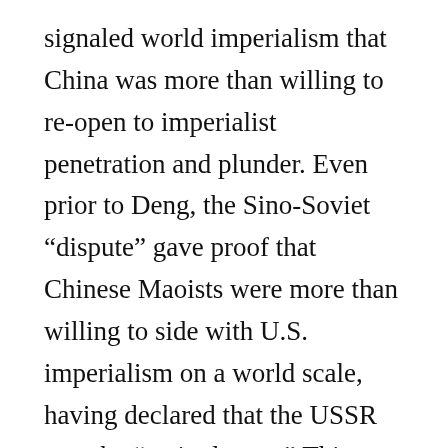signaled world imperialism that China was more than willing to re-open to imperialist penetration and plunder. Even prior to Deng, the Sino-Soviet “dispute” gave proof that Chinese Maoists were more than willing to side with U.S. imperialism on a world scale, having declared that the USSR was the “main danger.” This included formal meetings between the Chinese leadership, culminating in the 1972 visit by U.S. President Richard Nixon to China during the Vietnam War when the U.S. was raining death and destruction on that beleaguered country. China’s subsequent recognition – the first in the world – of the